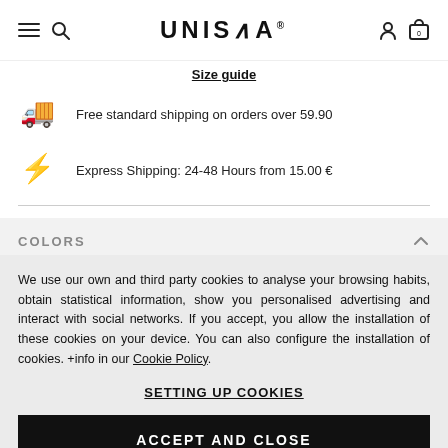UNISA
Size guide
Free standard shipping on orders over 59.90
Express Shipping: 24-48 Hours from 15.00 €
COLORS
We use our own and third party cookies to analyse your browsing habits, obtain statistical information, show you personalised advertising and interact with social networks. If you accept, you allow the installation of these cookies on your device. You can also configure the installation of cookies. +info in our Cookie Policy.
SETTING UP COOKIES
ACCEPT AND CLOSE
FRANCI_22
FRANCI_22_ECL_NT